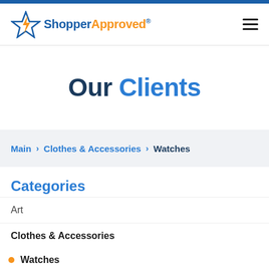[Figure (logo): ShopperApproved logo with star icon, blue and orange text]
Our Clients
Main > Clothes & Accessories > Watches
Categories
Art
Clothes & Accessories
Watches